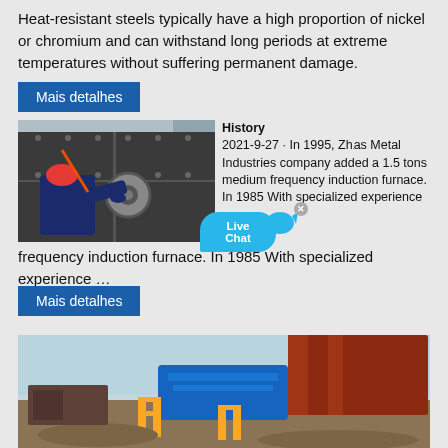Heat-resistant steels typically have a high proportion of nickel or chromium and can withstand long periods at extreme temperatures without suffering permanent damage.
Mais detalhes
[Figure (photo): Worker in blue uniform and red helmet working on industrial machinery/large metal structure with bolts and flanges.]
History
2021-9-27 · In 1995, Zhongxin Metal Industries company added a 1.5 tons medium frequency induction furnace. In 1985 With specialized experience …
frequency induction furnace. In 1985 With specialized experience …
Mais detalhes
[Figure (photo): Industrial outdoor scene with blue machinery, yellow railings, and large steel/metal structures under clear sky.]